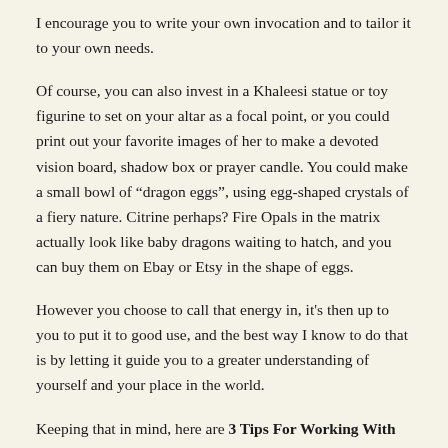I encourage you to write your own invocation and to tailor it to your own needs.
Of course, you can also invest in a Khaleesi statue or toy figurine to set on your altar as a focal point, or you could print out your favorite images of her to make a devoted vision board, shadow box or prayer candle. You could make a small bowl of “dragon eggs”, using egg-shaped crystals of a fiery nature. Citrine perhaps? Fire Opals in the matrix actually look like baby dragons waiting to hatch, and you can buy them on Ebay or Etsy in the shape of eggs.
However you choose to call that energy in, it's then up to you to put it to good use, and the best way I know to do that is by letting it guide you to a greater understanding of yourself and your place in the world.
Keeping that in mind, here are 3 Tips For Working With